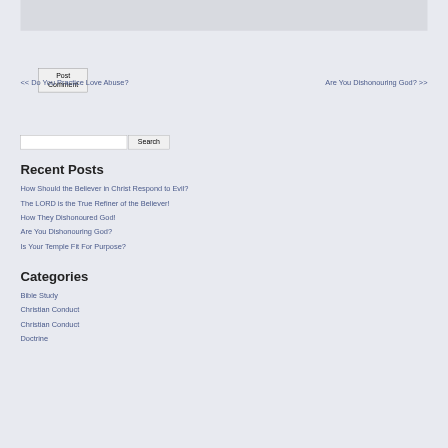[Figure (other): Text input area (textarea or comment box), shown as a gray rectangle at the top]
Post Comment
<< Do You Practice Love Abuse?   Are You Dishonouring God? >>
[Figure (other): Search input field with Search button]
Recent Posts
How Should the Believer in Christ Respond to Evil?
The LORD is the True Refiner of the Believer!
How They Dishonoured God!
Are You Dishonouring God?
Is Your Temple Fit For Purpose?
Categories
Bible Study
Christian Conduct
Christian Conduct
Doctrine